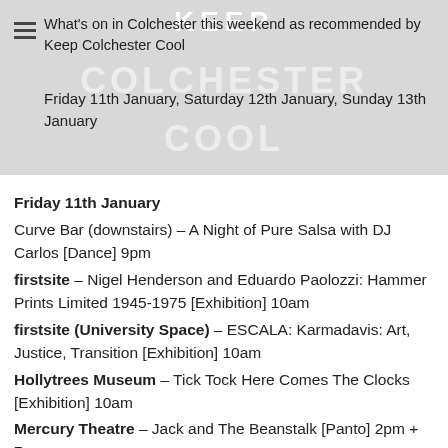KEEP COLCHESTER COOL
What's on in Colchester this weekend as recommended by Keep Colchester Cool
Friday 11th January, Saturday 12th January, Sunday 13th January
Friday 11th January
Curve Bar (downstairs) – A Night of Pure Salsa with DJ Carlos [Dance] 9pm
firstsite – Nigel Henderson and Eduardo Paolozzi: Hammer Prints Limited 1945-1975 [Exhibition] 10am
firstsite (University Space) – ESCALA: Karmadavis: Art, Justice, Transition [Exhibition] 10am
Hollytrees Museum – Tick Tock Here Comes The Clocks [Exhibition] 10am
Mercury Theatre – Jack and The Beanstalk [Panto] 2pm + 7pm
Roberts Live Lounge – The Outlaws [Live Music] 9pm